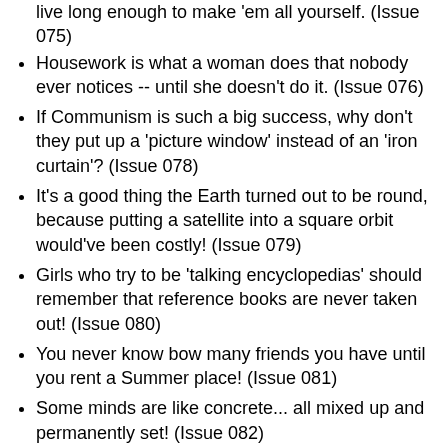live long enough to make 'em all yourself. (Issue 075)
Housework is what a woman does that nobody ever notices -- until she doesn't do it. (Issue 076)
If Communism is such a big success, why don't they put up a 'picture window' instead of an 'iron curtain'? (Issue 078)
It's a good thing the Earth turned out to be round, because putting a satellite into a square orbit would've been costly! (Issue 079)
Girls who try to be 'talking encyclopedias' should remember that reference books are never taken out! (Issue 080)
You never know bow many friends you have until you rent a Summer place! (Issue 081)
Some minds are like concrete... all mixed up and permanently set! (Issue 082)
If we're going to insure better education for our children, we better start pulling some wires -- mainly the ones on the TV, Radio and Hi-Fi! (Issue 083)
We'd be a richer nation if...